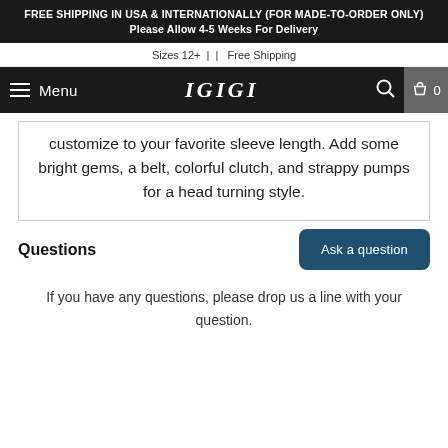FREE SHIPPING IN USA & INTERNATIONALLY (FOR MADE-TO-ORDER ONLY) Please Allow 4-5 Weeks For Delivery
Sizes 12+ |  |  Free Shipping
Menu  IGIGI
customize to your favorite sleeve length. Add some bright gems, a belt, colorful clutch, and strappy pumps for a head turning style.
Questions
Ask a question
If you have any questions, please drop us a line with your question.